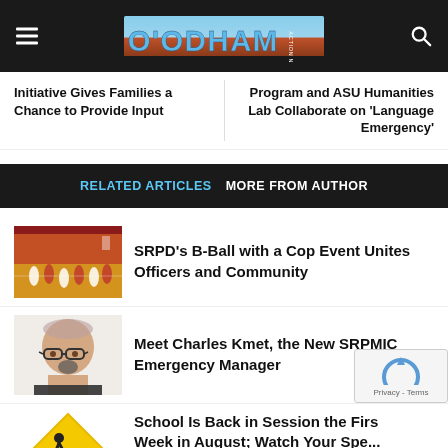O'ODHAM Action News
Initiative Gives Families a Chance to Provide Input
Program and ASU Humanities Lab Collaborate on 'Language Emergency'
RELATED ARTICLES   MORE FROM AUTHOR
[Figure (photo): Basketball court with players during a community basketball event]
SRPD's B-Ball with a Cop Event Unites Officers and Community
[Figure (photo): Headshot of Charles Kmet, a man with glasses and a goatee]
Meet Charles Kmet, the New SRPMIC Emergency Manager
[Figure (photo): Yellow warning sign with pedestrian/school crossing symbol]
School Is Back in Session the First Week in August; Watch Your Speed...